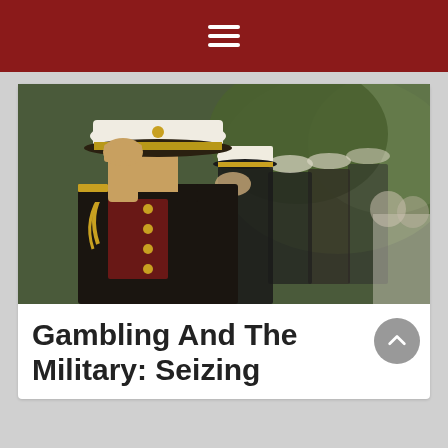Navigation menu
[Figure (photo): Military officers in dress uniforms saluting in a line, wearing white-topped caps with gold emblem. The foreground officer wears a dark dress coat with gold buttons and braided aiguillette. Blurred greenery in background.]
Gambling And The Military: Seizing